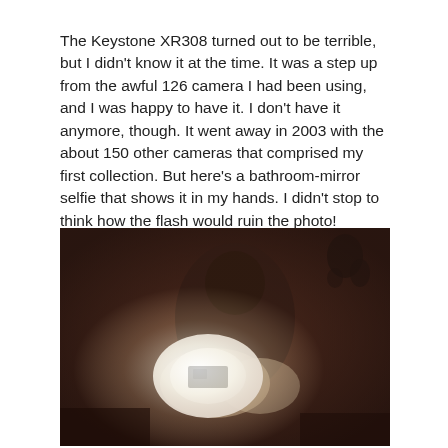The Keystone XR308 turned out to be terrible, but I didn't know it at the time. It was a step up from the awful 126 camera I had been using, and I was happy to have it. I don't have it anymore, though. It went away in 2003 with the about 150 other cameras that comprised my first collection. But here's a bathroom-mirror selfie that shows it in my hands. I didn't stop to think how the flash would ruin the photo!
[Figure (photo): A dark, heavily flash-blown bathroom mirror selfie showing a person holding a camera. The flash has overexposed the center of the image, obscuring most details. The background shows a dark reddish-brown wall with some markings.]